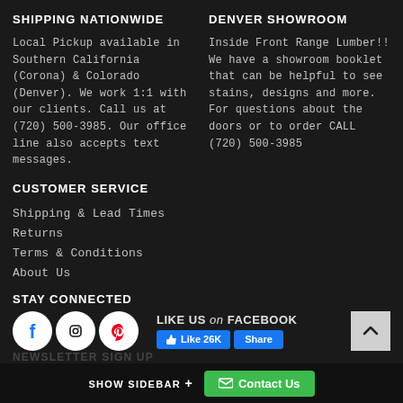SHIPPING NATIONWIDE
Local Pickup available in Southern California (Corona) & Colorado (Denver). We work 1:1 with our clients. Call us at (720) 500-3985. Our office line also accepts text messages.
DENVER SHOWROOM
Inside Front Range Lumber!! We have a showroom booklet that can be helpful to see stains, designs and more. For questions about the doors or to order CALL (720) 500-3985
CUSTOMER SERVICE
Shipping & Lead Times
Returns
Terms & Conditions
About Us
STAY CONNECTED
[Figure (infographic): Social media icons for Facebook, Instagram, Pinterest, and a Facebook Like widget showing 'LIKE US on FACEBOOK' with Like 26K and Share buttons. A back-to-top arrow button is on the right.]
SHOW SIDEBAR + Contact Us